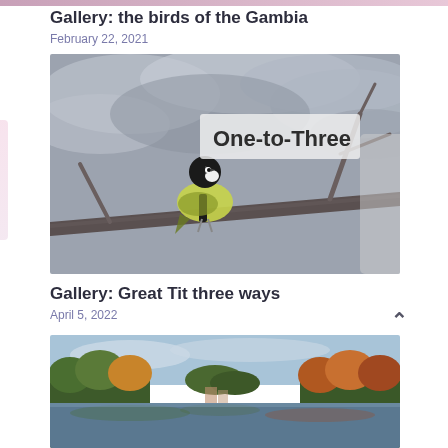Gallery: the birds of the Gambia
February 22, 2021
[Figure (photo): A great tit bird perched on a branch, shown in selective color with yellow-green body against a grey monochrome background. Overlaid text reads 'One-to-Three'.]
Gallery: Great Tit three ways
April 5, 2022
[Figure (photo): A lake or pond scene with autumn trees reflected in still water, photographed in color.]